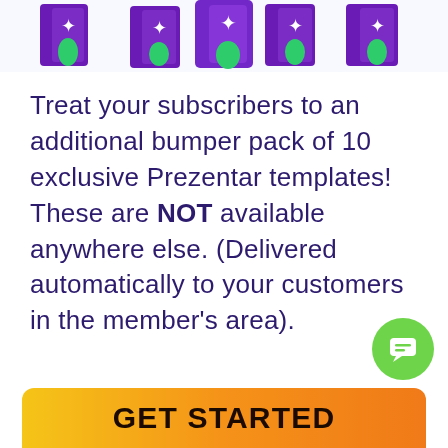[Figure (illustration): Product box mockups showing Prezentar templates with a person in a green shirt, purple boxes with white star decorations, arranged in a row]
Treat your subscribers to an additional bumper pack of 10 exclusive Prezentar templates! These are NOT available anywhere else. (Delivered automatically to your customers in the member's area).
[Figure (illustration): Green circular chat bubble icon in bottom right corner]
GET STARTED